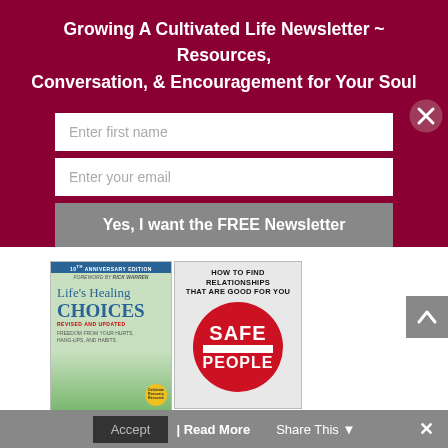Growing A Cultivated Life Newsletter ~ Resources, Conversation, & Encouragement for Your Soul
Enter first name
Enter your email
Yes, I want the FREE Newsletter
[Figure (photo): Two book covers side by side: 'Life's Healing Choices - Revised and Updated, 10th Anniversary Edition, Foreword by Rick Warren, Freedom from Your Hurts, Hang-ups, and Habits' and 'How to Find Relationships That Are Good for You - Safe People']
This website uses cookies to improve your experience. We'll assume you're ok with this, but you can opt-out if you wish.
Accept  |  Read More
Share This